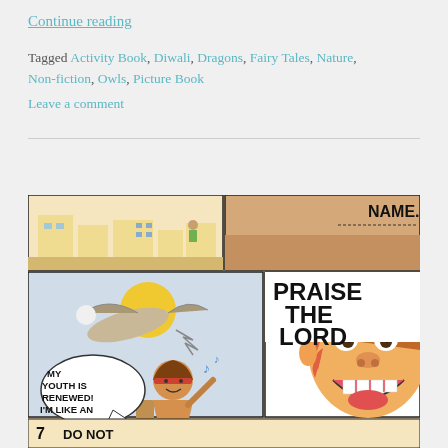Continue reading
Tagged Activity Book, Diwali, Dragons, Fairy Tales, Nature, Non-fiction, Owls, Picture Book
Leave a comment
[Figure (illustration): Comic strip illustration showing biblical/religious cartoon scenes. Top left panel shows a town scene with buildings. Top right shows 'NAME.' label area. Middle left panel shows a dove/eagle flying with a sun and a person with a headband singing 'My youth is renewed! I'm like an eagle!' Middle right shows a large cartoon face of a boy saying 'PRAISE THE LORD'. Bottom shows partial panel with number 7 and text 'DO NOT'.]